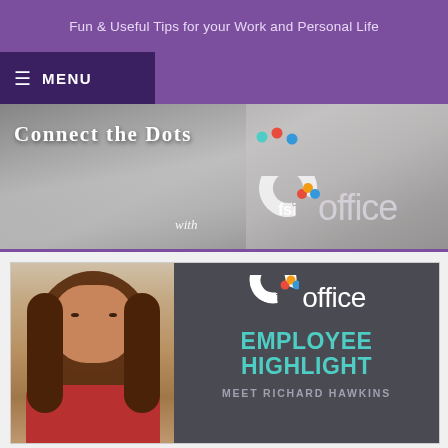Fun & Useful Tips for your Work and Personal Life
MENU
[Figure (illustration): Hero banner showing pencils in background with text 'Connect the Dots...' and 'with FSI Office' logo]
[Figure (photo): Employee highlight card with photo of a woman with long brown hair wearing a red shirt, alongside FSI Office logo and text reading EMPLOYEE HIGHLIGHT MEET RICHARD HAWKINS]